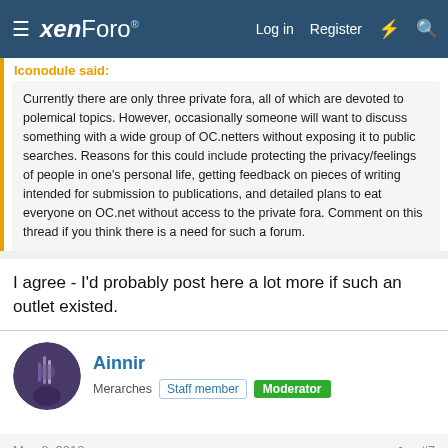xenForo — Log in  Register
Iconodule said:
Currently there are only three private fora, all of which are devoted to polemical topics. However, occasionally someone will want to discuss something with a wide group of OC.netters without exposing it to public searches. Reasons for this could include protecting the privacy/feelings of people in one's personal life, getting feedback on pieces of writing intended for submission to publications, and detailed plans to eat everyone on OC.net without access to the private fora. Comment on this thread if you think there is a need for such a forum.
I agree - I'd probably post here a lot more if such an outlet existed.
Ainnir
Merarches  Staff member  Moderator
May 8, 2018  #7
The Cheers of OC.net? 😀